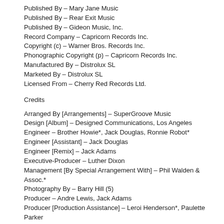Published By – Mary Jane Music
Published By – Rear Exit Music
Published By – Gideon Music, Inc.
Record Company – Capricorn Records Inc.
Copyright (c) – Warner Bros. Records Inc.
Phonographic Copyright (p) – Capricorn Records Inc.
Manufactured By – Distrolux SL
Marketed By – Distrolux SL
Licensed From – Cherry Red Records Ltd.
Credits
Arranged By [Arrangements] – SuperGroove Music
Design [Album] – Designed Communications, Los Angeles
Engineer – Brother Howie*, Jack Douglas, Ronnie Robot*
Engineer [Assistant] – Jack Douglas
Engineer [Remix] – Jack Adams
Executive-Producer – Luther Dixon
Management [By Special Arrangement With] – Phil Walden & Assoc.*
Photography By – Barry Hill (5)
Producer – Andre Lewis, Jack Adams
Producer [Production Assistance] – Leroi Henderson*, Paulette Parker
Sleeve Notes – Marty Silva
Barcode and Other Identifiers